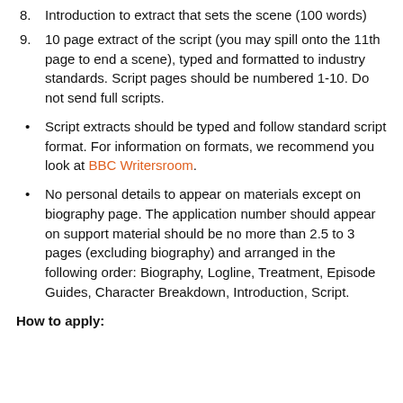8. Introduction to extract that sets the scene (100 words)
9. 10 page extract of the script (you may spill onto the 11th page to end a scene), typed and formatted to industry standards. Script pages should be numbered 1-10. Do not send full scripts.
Script extracts should be typed and follow standard script format. For information on formats, we recommend you look at BBC Writersroom.
No personal details to appear on materials except on biography page. The application number should appear on support material should be no more than 2.5 to 3 pages (excluding biography) and arranged in the following order: Biography, Logline, Treatment, Episode Guides, Character Breakdown, Introduction, Script.
How to apply: